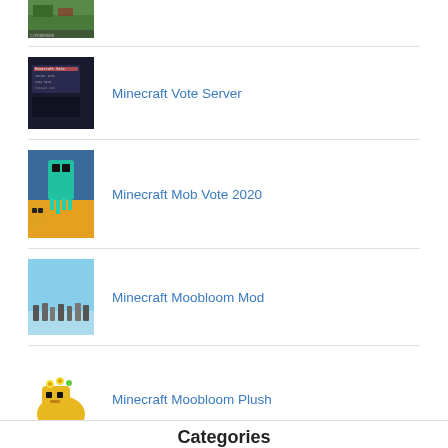[Figure (screenshot): Minecraft game screenshot thumbnail (partial, cropped at top)]
Minecraft Vote Server
[Figure (screenshot): Minecraft Vote Server screenshot thumbnail]
Minecraft Mob Vote 2020
[Figure (screenshot): Minecraft Mob Vote 2020 creatures screenshot thumbnail]
Minecraft Moobloom Mod
[Figure (screenshot): Minecraft Moobloom Mod screenshot thumbnail showing characters on sky background]
Minecraft Moobloom Plush
[Figure (photo): Minecraft Moobloom Plush toy photo]
Categories